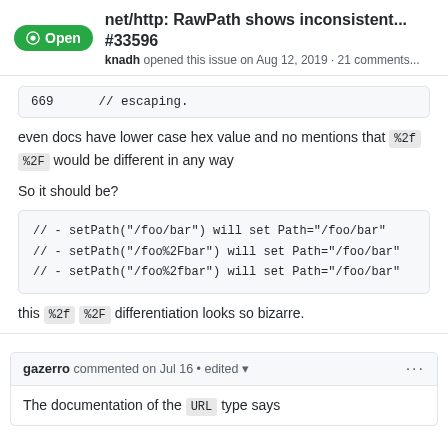net/http: RawPath shows inconsistent... #33596 knadh opened this issue on Aug 12, 2019 · 21 comments...
669    // escaping.
even docs have lower case hex value and no mentions that %2f %2F would be different in any way
So it should be?
// - setPath("/foo/bar")    will set Path="/foo/bar"
// - setPath("/foo%2Fbar") will set Path="/foo/bar"
// - setPath("/foo%2fbar") will set Path="/foo/bar"
this %2f %2F differentiation looks so bizarre.
gazerro commented on Jul 16 • edited
The documentation of the URL type says